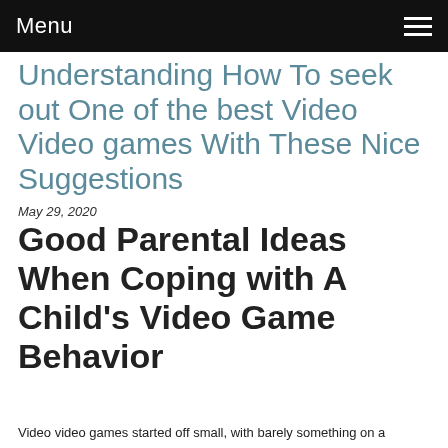Menu
Understanding How To seek out One of the best Video Video games With These Nice Suggestions
May 29, 2020
Good Parental Ideas When Coping with A Child's Video Game Behavior
Video video games started off small, with barely something on a